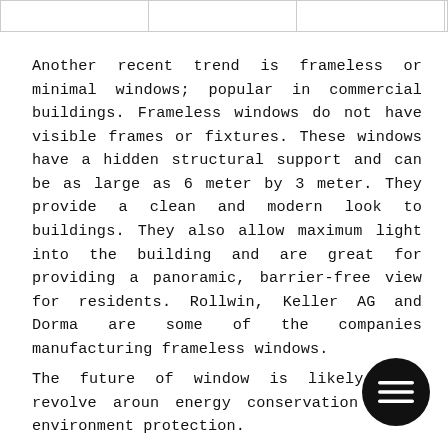|  |  |  |  |
Another recent trend is frameless or minimal windows; popular in commercial buildings. Frameless windows do not have visible frames or fixtures. These windows have a hidden structural support and can be as large as 6 meter by 3 meter. They provide a clean and modern look to buildings. They also allow maximum light into the building and are great for providing a panoramic, barrier-free view for residents. Rollwin, Keller AG and Dorma are some of the companies manufacturing frameless windows.
The future of window is likely to revolve around energy conservation and environment protection.